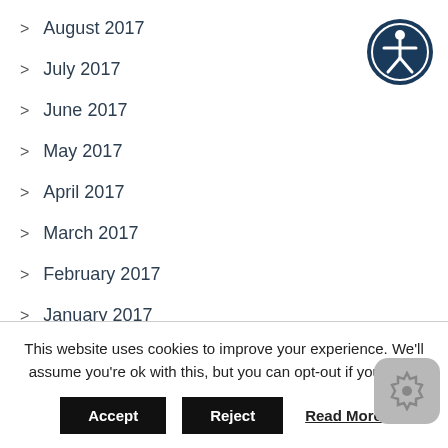> August 2017
> July 2017
> June 2017
> May 2017
> April 2017
> March 2017
> February 2017
> January 2017
> December 2016
> November 2016
> October 2016
This website uses cookies to improve your experience. We'll assume you're ok with this, but you can opt-out if you wish.